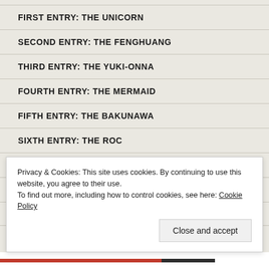FIRST ENTRY: THE UNICORN
SECOND ENTRY: THE FENGHUANG
THIRD ENTRY: THE YUKI-ONNA
FOURTH ENTRY: THE MERMAID
FIFTH ENTRY: THE BAKUNAWA
SIXTH ENTRY: THE ROC
SEVENTH ENTRY: THE COCKATRICE
EIGHTH ENTRY: THE REDCAP
NINTH ENTRY: THE ...
Privacy & Cookies: This site uses cookies. By continuing to use this website, you agree to their use. To find out more, including how to control cookies, see here: Cookie Policy
Close and accept